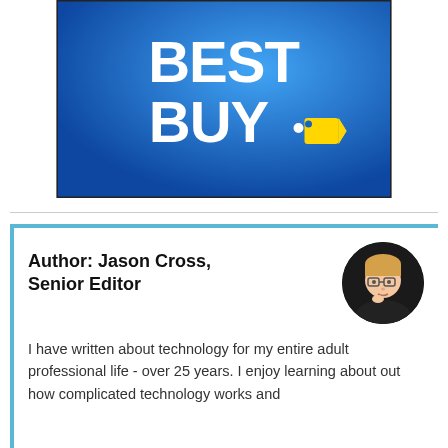[Figure (logo): Best Buy logo — dark blue gradient background with bold white text 'BEST BUY.' and a yellow price tag graphic]
Author: Jason Cross, Senior Editor
I have written about technology for my entire adult professional life - over 25 years. I enjoy learning about out how complicated technology works and